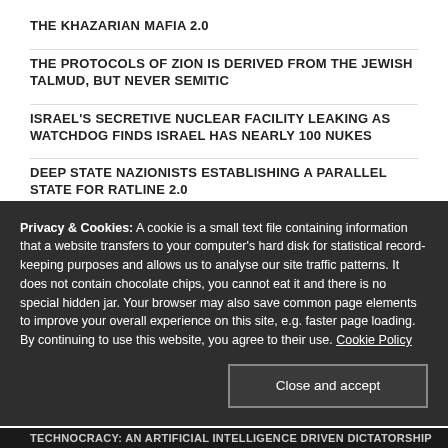THE KHAZARIAN MAFIA 2.0
THE PROTOCOLS OF ZION IS DERIVED FROM THE JEWISH TALMUD, BUT NEVER SEMITIC
ISRAEL'S SECRETIVE NUCLEAR FACILITY LEAKING AS WATCHDOG FINDS ISRAEL HAS NEARLY 100 NUKES
DEEP STATE NAZIONISTS ESTABLISHING A PARALLEL STATE FOR RATLINE 2.0
CORPORATE POWER AND EXPANSIVE U.S. MILITARY POLICY | PROF. GAFFNEY
Privacy & Cookies: A cookie is a small text file containing information that a website transfers to your computer's hard disk for statistical record-keeping purposes and allows us to analyse our site traffic patterns. It does not contain chocolate chips, you cannot eat it and there is no special hidden jar. Your browser may also save common page elements to improve your overall experience on this site, e.g. faster page loading. By continuing to use this website, you agree to their use. Cookie Policy
Close and accept
TECHNOCRACY: AN ARTIFICIAL INTELLIGENCE DRIVEN DICTATORSHIP